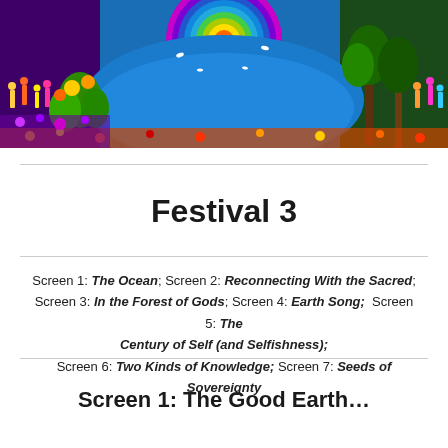[Figure (illustration): Colorful folk art painting depicting people, nature, trees, animals, and a large rainbow-colored circular mandala/sun on a blue background]
Festival 3
Screen 1: The Ocean; Screen 2: Reconnecting With the Sacred; Screen 3: In the Forest of Gods; Screen 4: Earth Song; Screen 5: The Century of Self (and Selfishness); Screen 6: Two Kinds of Knowledge; Screen 7: Seeds of Sovereignty
Screen 1: The Good Earth…